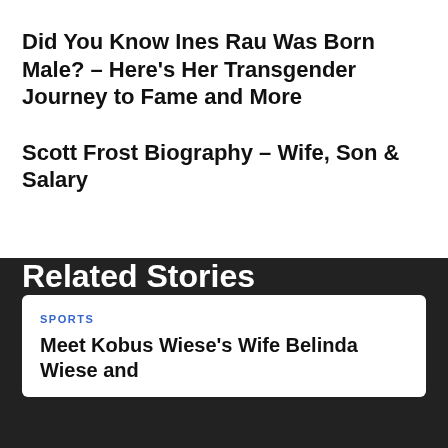Did You Know Ines Rau Was Born Male? – Here's Her Transgender Journey to Fame and More
Scott Frost Biography – Wife, Son & Salary
Related Stories
SPORTS
Meet Kobus Wiese's Wife Belinda Wiese and